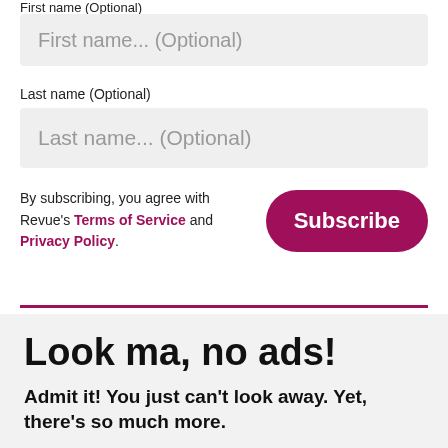First name (Optional)
First name... (Optional)
Last name (Optional)
Last name... (Optional)
By subscribing, you agree with Revue's Terms of Service and Privacy Policy.
Subscribe
Look ma, no ads!
Admit it! You just can't look away. Yet, there's so much more.